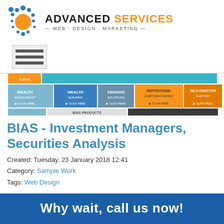[Figure (logo): Advanced Services Web Design Marketing logo with blue/orange circles icon and company name]
[Figure (screenshot): BIAS website screenshot showing navigation tabs: Wealth Management, Wealth Building, Pension Solutions, Institutional Asset Management, Self-Directed Custody, and BIAS Products bar]
BIAS - Investment Managers, Securities Analysis
Created: Tuesday, 23 January 2018 12:41
Category: Sample Work
Tags: Web Design
Responsive Web Design, Graphic Design, CMS, Custom Stock Data Feeds, One-Click Share Social Networking Functionality, Multiple Custom Forms with Segmented Databases, Video
Why wait, call us now!